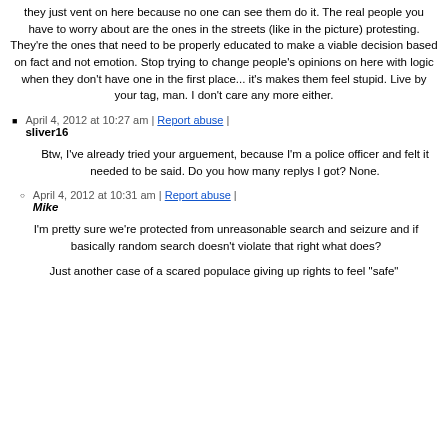they just vent on here because no one can see them do it. The real people you have to worry about are the ones in the streets (like in the picture) protesting. They're the ones that need to be properly educated to make a viable decision based on fact and not emotion. Stop trying to change people's opinions on here with logic when they don't have one in the first place... it's makes them feel stupid. Live by your tag, man. I don't care any more either.
April 4, 2012 at 10:27 am | Report abuse | sliver16
Btw, I've already tried your arguement, because I'm a police officer and felt it needed to be said. Do you how many replys I got? None.
April 4, 2012 at 10:31 am | Report abuse | Mike
I'm pretty sure we're protected from unreasonable search and seizure and if basically random search doesn't violate that right what does?
Just another case of a scared populace giving up rights to feel "safe"